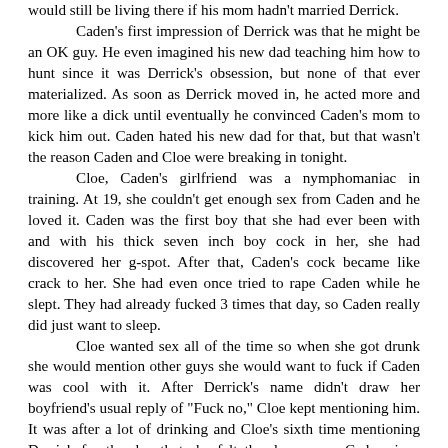would still be living there if his mom hadn't married Derrick.

Caden's first impression of Derrick was that he might be an OK guy. He even imagined his new dad teaching him how to hunt since it was Derrick's obsession, but none of that ever materialized. As soon as Derrick moved in, he acted more and more like a dick until eventually he convinced Caden's mom to kick him out. Caden hated his new dad for that, but that wasn't the reason Caden and Cloe were breaking in tonight.

Cloe, Caden's girlfriend was a nymphomaniac in training. At 19, she couldn't get enough sex from Caden and he loved it. Caden was the first boy that she had ever been with and with his thick seven inch boy cock in her, she had discovered her g-spot. After that, Caden's cock became like crack to her. She had even once tried to rape Caden while he slept. They had already fucked 3 times that day, so Caden really did just want to sleep.

Cloe wanted sex all of the time so when she got drunk she would mention other guys she would want to fuck if Caden was cool with it. After Derrick's name didn't draw her boyfriend's usual reply of "Fuck no," Cloe kept mentioning him. It was after a lot of drinking and Cloe's sixth time mentioning Derrick for the day that she felt the door open. Caden, in a drunken state, had replied "Who wouldn't want to fuck him? He's fuckin' hot."